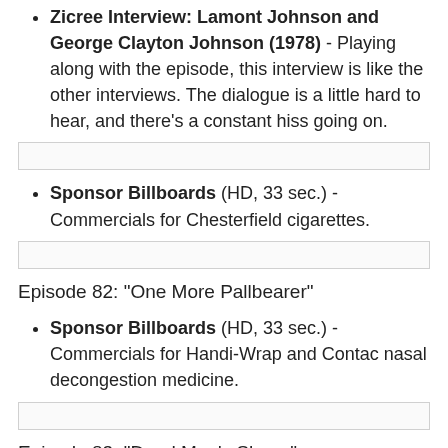Zicree Interview: Lamont Johnson and George Clayton Johnson (1978) - Playing along with the episode, this interview is like the other interviews. The dialogue is a little hard to hear, and there's a constant hiss going on.
Sponsor Billboards (HD, 33 sec.) - Commercials for Chesterfield cigarettes.
Episode 82: "One More Pallbearer"
Sponsor Billboards (HD, 33 sec.) - Commercials for Handi-Wrap and Contac nasal decongestion medicine.
Episode 83: "Dead Man's Shoes"